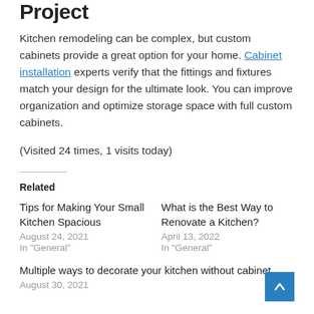Project
Kitchen remodeling can be complex, but custom cabinets provide a great option for your home. Cabinet installation experts verify that the fittings and fixtures match your design for the ultimate look. You can improve organization and optimize storage space with full custom cabinets.
(Visited 24 times, 1 visits today)
Related
Tips for Making Your Small Kitchen Spacious
August 24, 2021
In "General"
What is the Best Way to Renovate a Kitchen?
April 13, 2022
In "General"
Multiple ways to decorate your kitchen without cabinet
August 30, 2021